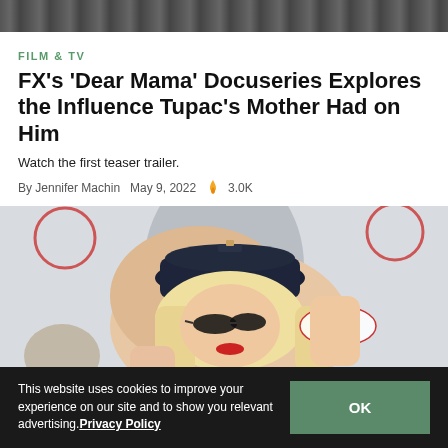[Figure (photo): Top banner image showing partial view of people, dark toned]
FILM & TV
FX's 'Dear Mama' Docuseries Explores the Influence Tupac's Mother Had on Him
Watch the first teaser trailer.
By Jennifer Machin  May 9, 2022  🔥 3.0K
[Figure (photo): Woman with blonde hair, dark sunglasses, wearing a denim hat posing at what appears to be an event. Red circular logos visible in background. 'media' text visible on badge in lower right.]
This website uses cookies to improve your experience on our site and to show you relevant advertising.Privacy Policy